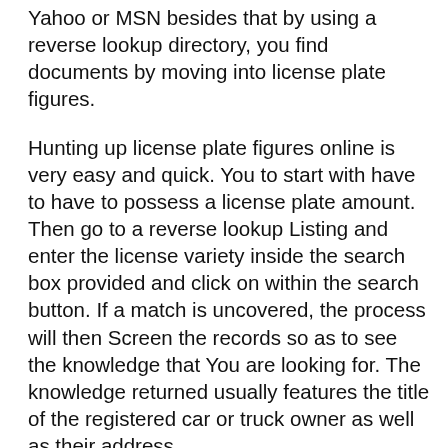Yahoo or MSN besides that by using a reverse lookup directory, you find documents by moving into license plate figures.
Hunting up license plate figures online is very easy and quick. You to start with have to have to possess a license plate amount. Then go to a reverse lookup Listing and enter the license variety inside the search box provided and click on within the search button. If a match is uncovered, the process will then Screen the records so as to see the knowledge that You are looking for. The knowledge returned usually features the title of the registered car or truck owner as well as their address.
When looking for a Web page to conduct a